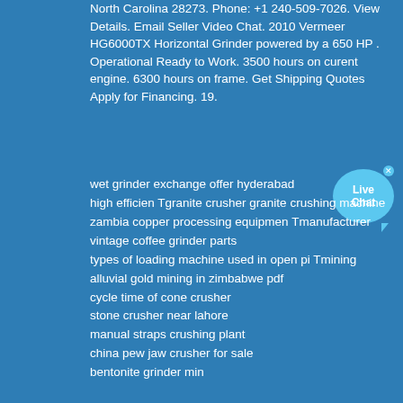North Carolina 28273. Phone: +1 240-509-7026. View Details. Email Seller Video Chat. 2010 Vermeer HG6000TX Horizontal Grinder powered by a 650 HP . Operational Ready to Work. 3500 hours on curent engine. 6300 hours on frame. Get Shipping Quotes Apply for Financing. 19.
[Figure (other): Live Chat button — a light blue speech bubble with 'Live Chat' text and a small close (x) button in the top right corner.]
wet grinder exchange offer hyderabad
high efficien Tgranite crusher granite crushing machine
zambia copper processing equipmen Tmanufacturer
vintage coffee grinder parts
types of loading machine used in open pi Tmining
alluvial gold mining in zimbabwe pdf
cycle time of cone crusher
stone crusher near lahore
manual straps crushing plant
china pew jaw crusher for sale
bentonite grinder min